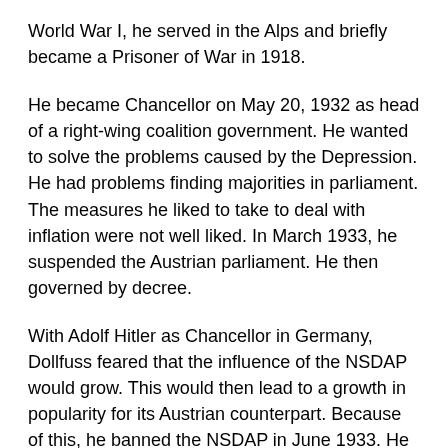World War I, he served in the Alps and briefly became a Prisoner of War in 1918.
He became Chancellor on May 20, 1932 as head of a right-wing coalition government. He wanted to solve the problems caused by the Depression. He had problems finding majorities in parliament. The measures he liked to take to deal with inflation were not well liked. In March 1933, he suspended the Austrian parliament. He then governed by decree.
With Adolf Hitler as Chancellor in Germany, Dollfuss feared that the influence of the NSDAP would grow. This would then lead to a growth in popularity for its Austrian counterpart. Because of this, he banned the NSDAP in June 1933. He also banned the SDAPÖ in February 1934.